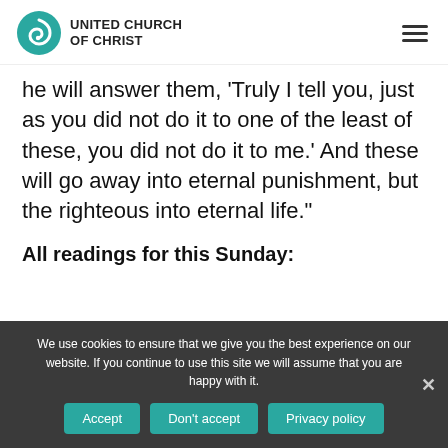[Figure (logo): United Church of Christ logo with teal spiral graphic and bold text]
he will answer them, 'Truly I tell you, just as you did not do it to one of the least of these, you did not do it to me.' And these will go away into eternal punishment, but the righteous into eternal life."
All readings for this Sunday:
We use cookies to ensure that we give you the best experience on our website. If you continue to use this site we will assume that you are happy with it.